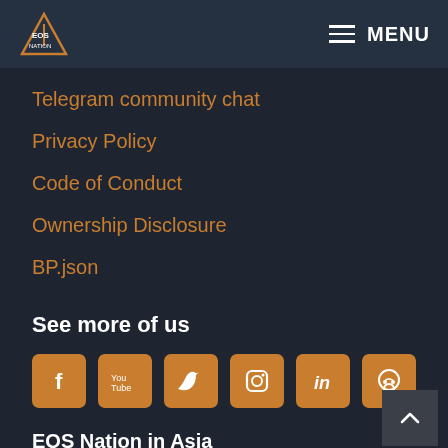EOS Nation — MENU
Telegram community chat
Privacy Policy
Code of Conduct
Ownership Disclosure
BP.json
See more of us
[Figure (infographic): Row of 6 orange social media icon buttons: Facebook, YouTube, Twitter, Instagram, LinkedIn, GitHub]
EOS Nation in Asia
Koreos